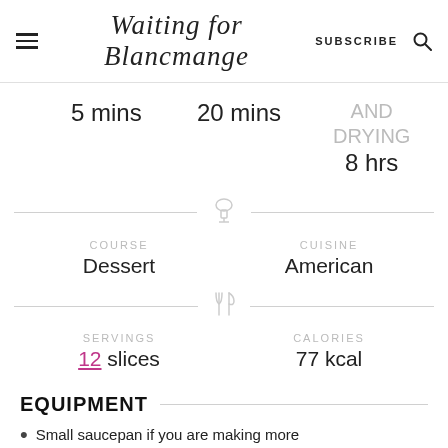Waiting for Blancmange | SUBSCRIBE
5 mins   20 mins   AND DRYING 8 hrs
COURSE
Dessert
CUISINE
American
SERVINGS
12 slices
CALORIES
77 kcal
EQUIPMENT
Small saucepan if you are making more